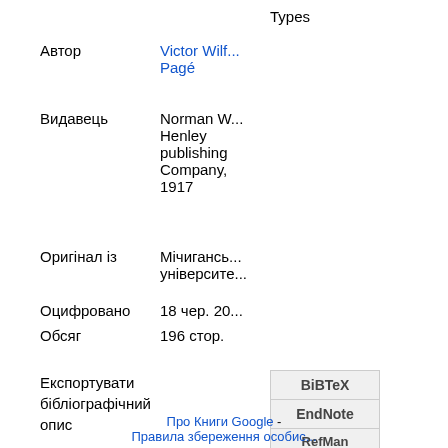Types
Автор	Victor Wilf... Pagé
Видавець	Norman W... Henley publishing Company, 1917
Оригінал із	Мічиганськ... університе...
Оцифровано	18 чер. 20...
Обсяг	196 стор.
Експортувати бібліографічний опис
BiBTeX
EndNote
RefMan
Про Книги Google - Правила збереження особис...